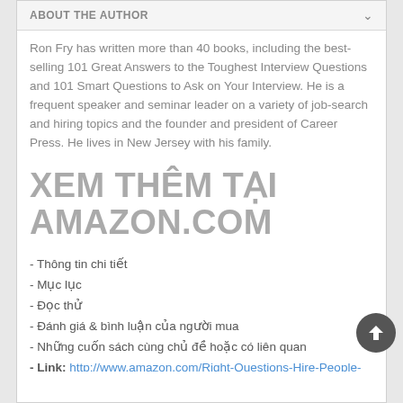ABOUT THE AUTHOR
Ron Fry has written more than 40 books, including the best-selling 101 Great Answers to the Toughest Interview Questions and 101 Smart Questions to Ask on Your Interview. He is a frequent speaker and seminar leader on a variety of job-search and hiring topics and the founder and president of Career Press. He lives in New Jersey with his family.
XEM THÊM TẠI AMAZON.COM
- Thông tin chi tiết
- Mục lục
- Đọc thử
- Đánh giá & bình luận của người mua
- Những cuốn sách cùng chủ đề hoặc có liên quan
- Link: http://www.amazon.com/Right-Questions-Hire-People-Third-ebook/dp/B0076H1JJG